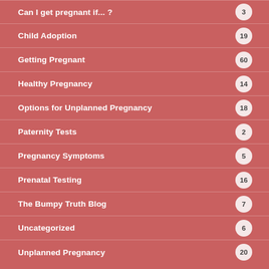Can I get pregnant if... ?  3
Child Adoption  19
Getting Pregnant  60
Healthy Pregnancy  14
Options for Unplanned Pregnancy  18
Paternity Tests  2
Pregnancy Symptoms  5
Prenatal Testing  16
The Bumpy Truth Blog  7
Uncategorized  6
Unplanned Pregnancy  20